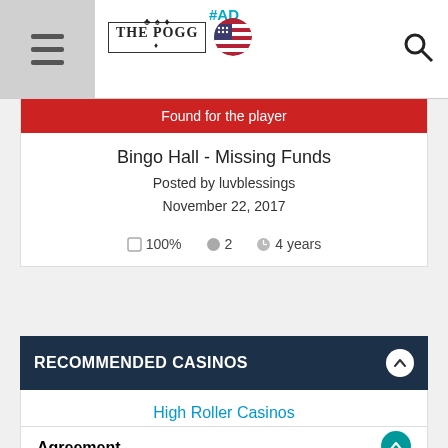#AD
[Figure (logo): THE POGG logo with decorative card suit icons and US flag icon]
Found for the player
Bingo Hall - Missing Funds
Posted by luvblessings
November 22, 2017
100%   2   4 years
RECOMMENDED CASINOS
High Roller Casinos
Agreement
luvblessings consented for ThePOGG to act on their behalf